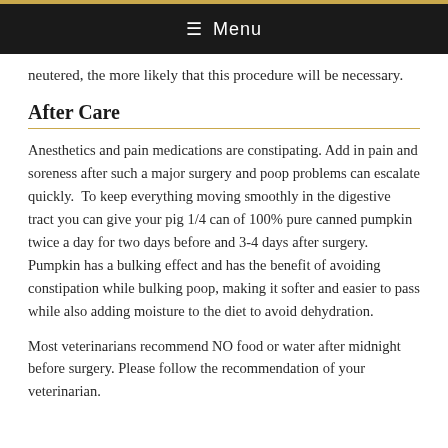≡ Menu
neutered, the more likely that this procedure will be necessary.
After Care
Anesthetics and pain medications are constipating. Add in pain and soreness after such a major surgery and poop problems can escalate quickly.  To keep everything moving smoothly in the digestive tract you can give your pig 1/4 can of 100% pure canned pumpkin twice a day for two days before and 3-4 days after surgery. Pumpkin has a bulking effect and has the benefit of avoiding constipation while bulking poop, making it softer and easier to pass while also adding moisture to the diet to avoid dehydration.
Most veterinarians recommend NO food or water after midnight before surgery. Please follow the recommendation of your veterinarian.